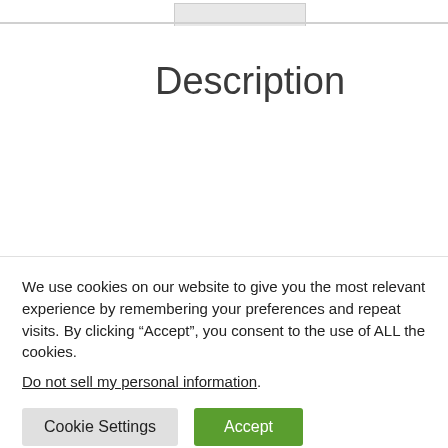[Figure (screenshot): Tab bar with an active/selected tab shown as a grey rectangle, with a horizontal divider line below]
Description
We use cookies on our website to give you the most relevant experience by remembering your preferences and repeat visits. By clicking “Accept”, you consent to the use of ALL the cookies.
Do not sell my personal information.
Cookie Settings  Accept